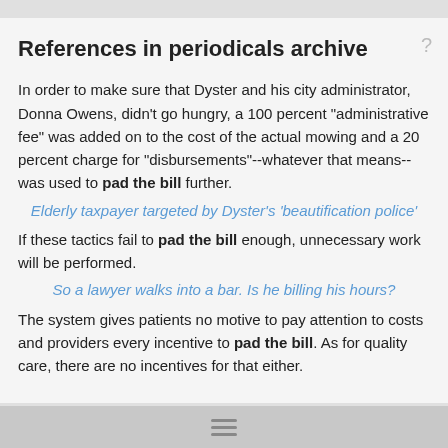References in periodicals archive
In order to make sure that Dyster and his city administrator, Donna Owens, didn't go hungry, a 100 percent "administrative fee" was added on to the cost of the actual mowing and a 20 percent charge for "disbursements"--whatever that means--was used to pad the bill further.
Elderly taxpayer targeted by Dyster's 'beautification police'
If these tactics fail to pad the bill enough, unnecessary work will be performed.
So a lawyer walks into a bar. Is he billing his hours?
The system gives patients no motive to pay attention to costs and providers every incentive to pad the bill. As for quality care, there are no incentives for that either.
Idioms browser